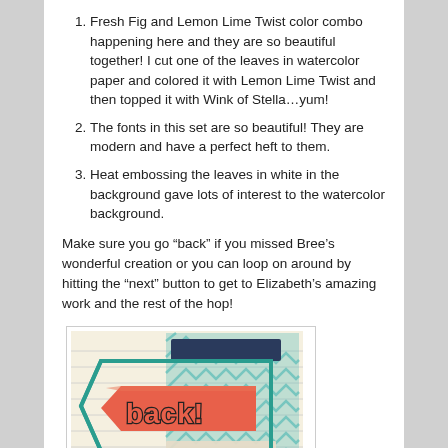Fresh Fig and Lemon Lime Twist color combo happening here and they are so beautiful together!  I cut one of the leaves in watercolor paper and colored it with Lemon Lime Twist and then topped it with Wink of Stella…yum!
The fonts in this set are so beautiful!  They are modern and have a perfect heft to them.
Heat embossing the leaves in white in the background gave lots of interest to the watercolor background.
Make sure you go “back” if you missed Bree’s wonderful creation or you can loop on around by hitting the “next” button to get to Elizabeth’s amazing work and the rest of the hop!
[Figure (illustration): A decorative 'back!' button image showing a coral/orange arrow pointing left with teal chevron pattern background and the word 'back!' in stylized lettering, inside a teal-bordered tag/label shape on a lined paper background.]